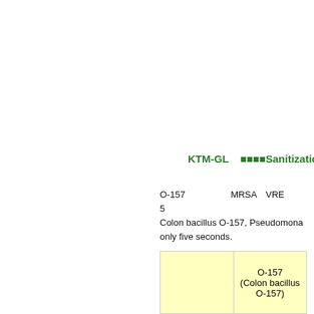KTM-GL　　　Sanitization
O-157やMRSA、VREなど、Colon bacillus O-157, Pseudomonas only five seconds.
|  | O-157 (Colon bacillus O-157) |
| --- | --- |
| (Japanese text) |  |